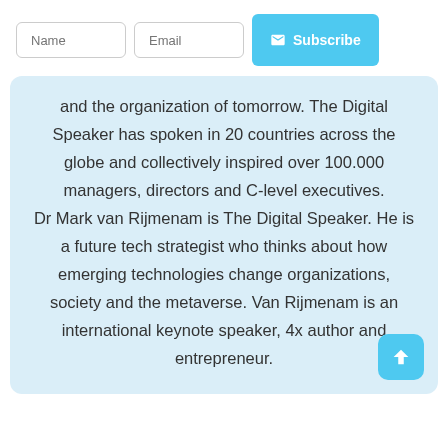Name | Email | Subscribe
and the organization of tomorrow. The Digital Speaker has spoken in 20 countries across the globe and collectively inspired over 100.000 managers, directors and C-level executives.
Dr Mark van Rijmenam is The Digital Speaker. He is a future tech strategist who thinks about how emerging technologies change organizations, society and the metaverse. Van Rijmenam is an international keynote speaker, 4x author and entrepreneur.